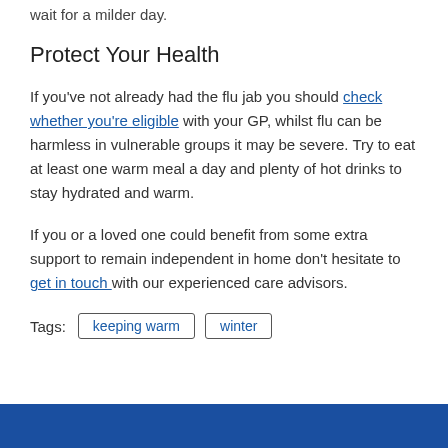wait for a milder day.
Protect Your Health
If you've not already had the flu jab you should check whether you're eligible with your GP, whilst flu can be harmless in vulnerable groups it may be severe. Try to eat at least one warm meal a day and plenty of hot drinks to stay hydrated and warm.
If you or a loved one could benefit from some extra support to remain independent in home don't hesitate to get in touch with our experienced care advisors.
Tags: keeping warm  winter